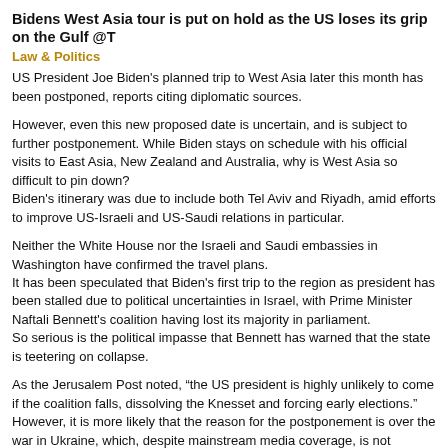Bidens West Asia tour is put on hold as the US loses its grip on the Gulf @T
Law & Politics
US President Joe Biden's planned trip to West Asia later this month has been postponed, reports citing diplomatic sources.
However, even this new proposed date is uncertain, and is subject to further postponement. While Biden stays on schedule with his official visits to East Asia, New Zealand and Australia, why is West Asia so difficult to pin down?
Biden's itinerary was due to include both Tel Aviv and Riyadh, amid efforts to improve US-Israeli and US-Saudi relations in particular.
Neither the White House nor the Israeli and Saudi embassies in Washington have confirmed the travel plans.
It has been speculated that Biden's first trip to the region as president has been stalled due to political uncertainties in Israel, with Prime Minister Naftali Bennett's coalition having lost its majority in parliament.
So serious is the political impasse that Bennett has warned that the state is teetering on collapse.
As the Jerusalem Post noted, “the US president is highly unlikely to come if the coalition falls, dissolving the Knesset and forcing early elections.”
However, it is more likely that the reason for the postponement is over the war in Ukraine, which, despite mainstream media coverage, is not currently progressing in accordance with the expectations of the US.
Why was Biden's trip postponed?
Ukraine is a top foreign policy priority for both Biden and the US political, military
This has naturally reduced West Asia's general importance in the Beltway, although there is still interest in non-Russian energy sources.
But a successful Russian diplomatic maneuver aborted Biden's tour days before it was due to start and hampered Washington's attempts to fast-track the restoration of its relations with Gulf Arab states. Russian Foreign Minister Sergei Lavrov began an early tour of the Gulf states early in June, meeting with Gulf Cooperation Council (GCC) foreign ministers in Riyadh, where Russia and the re